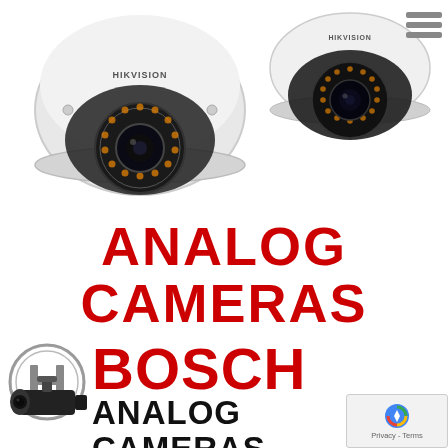[Figure (photo): Two Hikvision dome security cameras (analog), one large on the left and one smaller on the right, white housing with dark lens and IR LEDs]
ANALOG CAMERAS
[Figure (logo): Bosch circular logo (chrome with H symbol) on the left, with large red BOSCH text and black ANALOG CAMERAS text below it, plus a bullet/turret camera at bottom left and a reCAPTCHA privacy widget at bottom right]